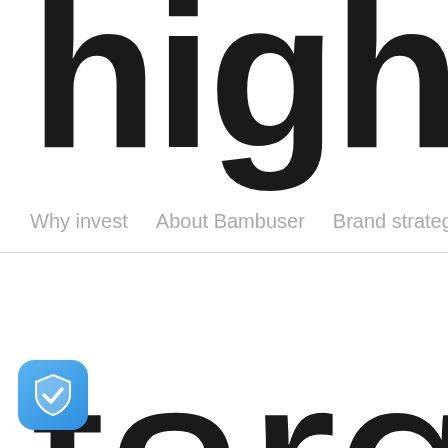high
Why invest   About Bambuser   Brand strategy and vision
targ
[Figure (logo): Blue shield icon with white checkmark, rounded square shape]